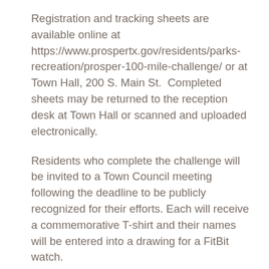Registration and tracking sheets are available online at https://www.prospertx.gov/residents/parks-recreation/prosper-100-mile-challenge/ or at Town Hall, 200 S. Main St.  Completed sheets may be returned to the reception desk at Town Hall or scanned and uploaded electronically.
Residents who complete the challenge will be invited to a Town Council meeting following the deadline to be publicly recognized for their efforts. Each will receive a commemorative T-shirt and their names will be entered into a drawing for a FitBit watch.
As with the statewide contest, Prosper Mayor Ray Smith is leading the effort.
“If you know me, you know I am a health nut!” says